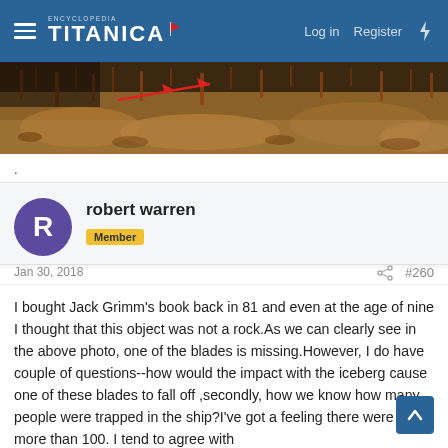Encyclopedia Titanica — Log in   Register
[Figure (photo): Close-up photograph of a rusty underwater wreck surface with a red arrow annotation pointing to an object of interest, showing orange and brown rust formations.]
.
robert warren
Member
Jan 30, 2018
#260
I bought Jack Grimm's book back in 81 and even at the age of nine I thought that this object was not a rock.As we can clearly see in the above photo, one of the blades is missing.However, I do have couple of questions--how would the impact with the iceberg cause one of these blades to fall off ,secondly, how we know how many people were trapped in the ship?I've got a feeling there were a lot more than 100. I tend to agree with